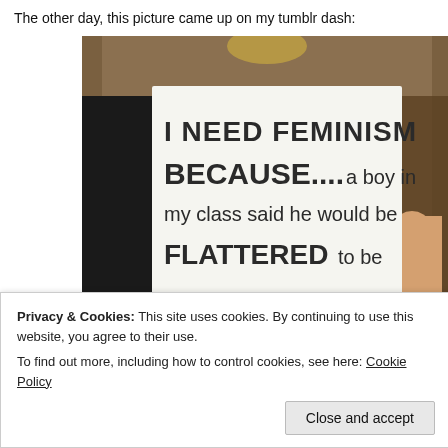The other day, this picture came up on my tumblr dash:
[Figure (photo): A person holding up a white sign that reads: I NEED FEMINISM BECAUSE....a boy in my class said he would be FLATTERED to be OBJECTIFIED.]
Privacy & Cookies: This site uses cookies. By continuing to use this website, you agree to their use.
To find out more, including how to control cookies, see here: Cookie Policy
Close and accept